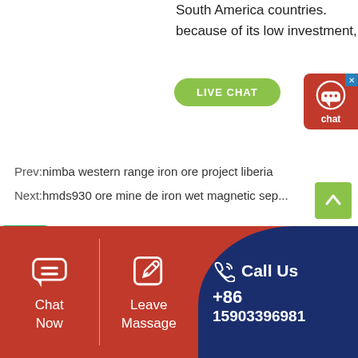South America countries.
because of its low investment,
[Figure (other): Green Live Chat button]
[Figure (other): Red chat widget with dots icon and close button]
Prev:nimba western range iron ore project liberia
Next:hmds930 ore mine de iron wet magnetic sep...
[Figure (other): Green scroll-to-top arrow button]
[Figure (other): Green WhatsApp icon]
[Figure (other): Footer with Chat Now icon, Leave Massage icon, and Call Us +86 15903396981 on dark blue background]